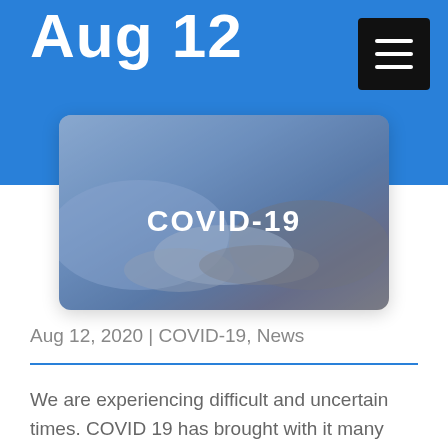Aug 12
[Figure (photo): Photo of two people shaking or touching hands with a blue overlay and 'COVID-19' text in the center]
Aug 12, 2020 | COVID-19, News
We are experiencing difficult and uncertain times. COVID 19 has brought with it many new